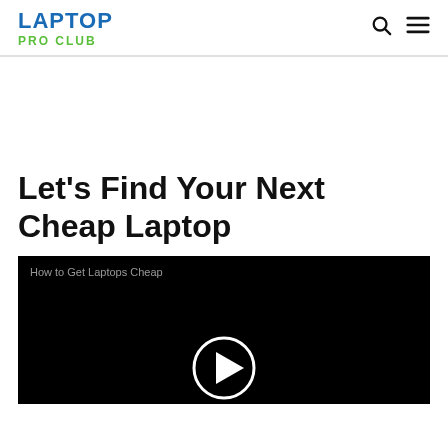LAPTOP PRO CLUB
Let's Find Your Next Cheap Laptop
[Figure (screenshot): Video player with black background showing title 'How to Get Laptops Cheap' and a circular play button in the center]